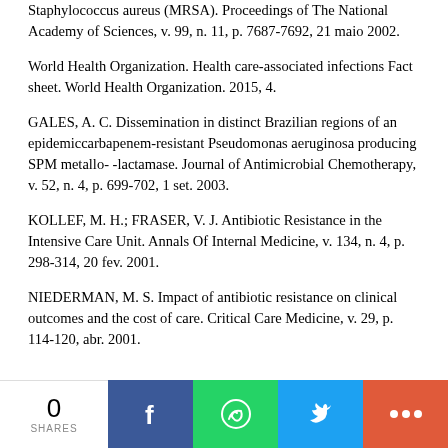Staphylococcus aureus (MRSA). Proceedings of The National Academy of Sciences, v. 99, n. 11, p. 7687-7692, 21 maio 2002.
World Health Organization. Health care-associated infections Fact sheet. World Health Organization. 2015, 4.
GALES, A. C. Dissemination in distinct Brazilian regions of an epidemiccarbapenem-resistant Pseudomonas aeruginosa producing SPM metallo- -lactamase. Journal of Antimicrobial Chemotherapy, v. 52, n. 4, p. 699-702, 1 set. 2003.
KOLLEF, M. H.; FRASER, V. J. Antibiotic Resistance in the Intensive Care Unit. Annals Of Internal Medicine, v. 134, n. 4, p. 298-314, 20 fev. 2001.
NIEDERMAN, M. S. Impact of antibiotic resistance on clinical outcomes and the cost of care. Critical Care Medicine, v. 29, p. 114-120, abr. 2001.
0 SHARES | Facebook | WhatsApp | Twitter | More